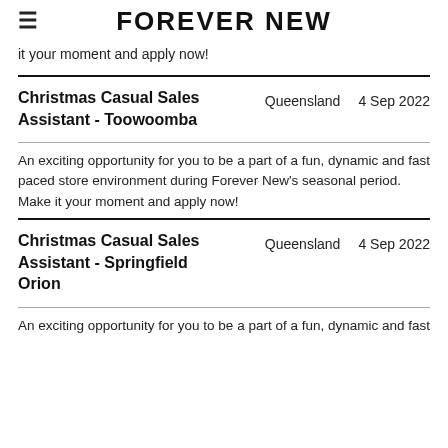FOREVER NEW
it your moment and apply now!
Christmas Casual Sales Assistant - Toowoomba
Queensland    4 Sep 2022
An exciting opportunity for you to be a part of a fun, dynamic and fast paced store environment during Forever New's seasonal period. Make it your moment and apply now!
Christmas Casual Sales Assistant - Springfield Orion
Queensland    4 Sep 2022
An exciting opportunity for you to be a part of a fun, dynamic and fast